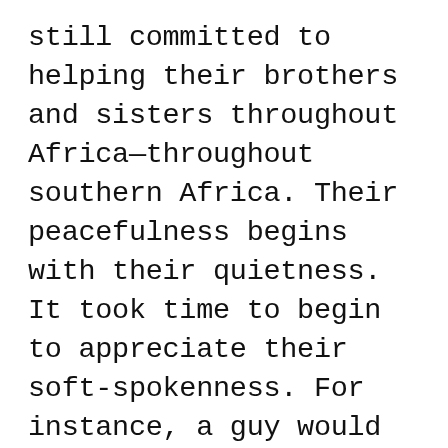still committed to helping their brothers and sisters throughout Africa—throughout southern Africa. Their peacefulness begins with their quietness. It took time to begin to appreciate their soft-spokenness. For instance, a guy would take my hand when we were talking. And I was like “Oh, shit! Why is this dude holding my hand like this?” And see, that’s my hang-up. It ain’t nothin’ to see two guys arm in arm; it’s like it was when you were children. There’s no reason why that can’t extend into Afro-American life, instead of us getting all